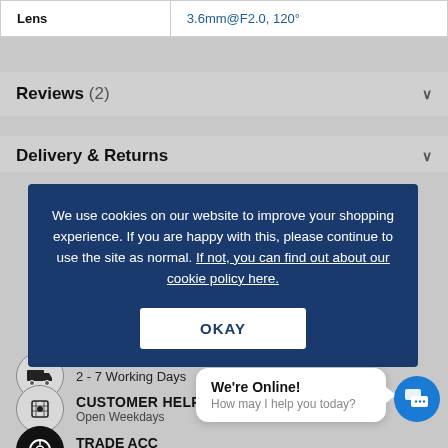|  |  |
| --- | --- |
| Lens | 3.6mm@F2.0, 120° |
Reviews (2)
Delivery & Returns
[Figure (screenshot): Cookie consent banner overlay with dark blue background reading: We use cookies on our website to improve your shopping experience. If you are happy with this, please continue to use the site as normal. If not, you can find out about our cookie policy here. With an OKAY button.]
2 - 7 Working Days
CUSTOMER HELPLINE
Open Weekdays
TRADE ACC... Apply Now
[Figure (screenshot): Live chat bubble saying We're Online! How may I help you today? with blue chat button icon]